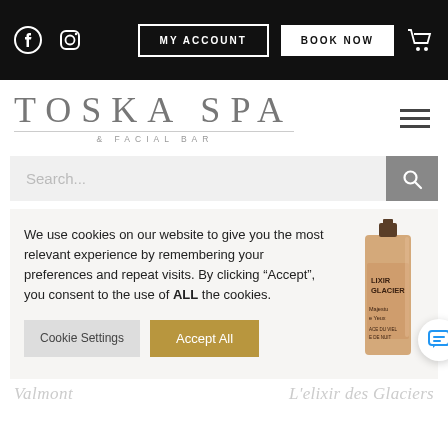MY ACCOUNT | BOOK NOW
TOSKA SPA & FACIAL BAR
Search...
We use cookies on our website to give you the most relevant experience by remembering your preferences and repeat visits. By clicking “Accept”, you consent to the use of ALL the cookies.
Cookie Settings | Accept All
[Figure (photo): Valmont L'elixir des Glaciers product bottle in a golden/nude color with text LIXIR GLACIER on it]
Valmont  L’elixir des Glaciers